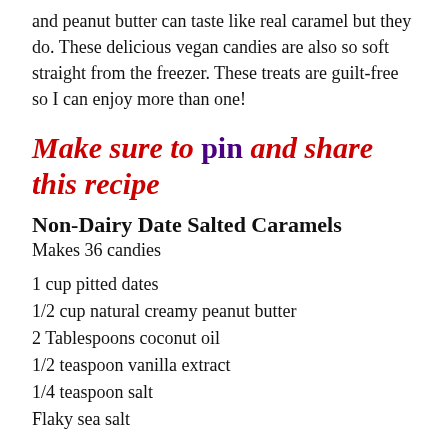and peanut butter can taste like real caramel but they do. These delicious vegan candies are also so soft straight from the freezer. These treats are guilt-free so I can enjoy more than one!
Make sure to pin and share this recipe
Non-Dairy Date Salted Caramels
Makes 36 candies
1 cup pitted dates
1/2 cup natural creamy peanut butter
2 Tablespoons coconut oil
1/2 teaspoon vanilla extract
1/4 teaspoon salt
Flaky sea salt
Soak the dates in hot water for 15 minutes. Drain the water. Then line a loaf pan with parchment paper and set it aside.
Place the soaked dates and all the rest of the ingredients, except the flaky sea salt, into a food processor. Blend until smooth and